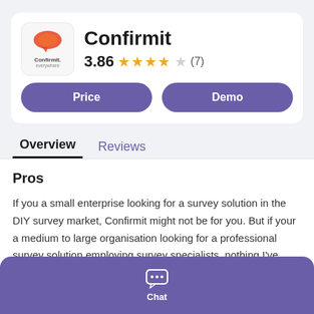[Figure (logo): Confirmit logo: orange speech bubble icon above text 'Confirmit.' and 'everywhere']
Confirmit
3.86 ★★★★☆ (7)
Price
Demo
Overview
Reviews
Pros
If you a small enterprise looking for a survey solution in the DIY survey market, Confirmit might not be for you. But if your a medium to large organisation looking for a professional survey solution employing survey specialists, nothing I've used yet (I've used multiple survey software platforms over the 27 years of my
Chat